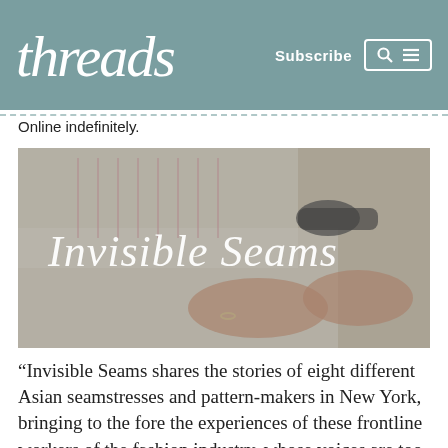threads  Subscribe
Online indefinitely.
[Figure (photo): Close-up photo of hands using scissors or notcher tool on white fabric/pattern paper, with text overlay reading 'Invisible Seams']
“Invisible Seams shares the stories of eight different Asian seamstresses and pattern-makers in New York, bringing to the fore the experiences of these frontline workers of the fashion industry, whose voices are too